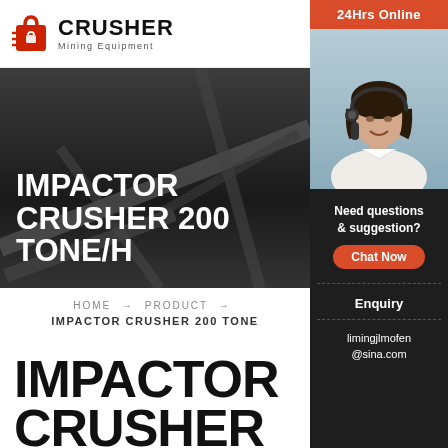[Figure (logo): Crusher Mining Equipment logo with red shopping bag icon and bold CRUSHER text]
[Figure (photo): Dark industrial background with conveyor/crane machinery; large white bold text reads IMPACTOR CRUSHER 200 TONE/H]
HOME → PRODUCT →
IMPACTOR CRUSHER 200 TONE
IMPACTOR CRUSHER 20
[Figure (photo): Right sidebar: 24Hrs Online orange bar, photo of female customer service agent with headset, Need questions & suggestion? text, Chat Now red button, Enquiry link, limingjlmofen@sina.com email]